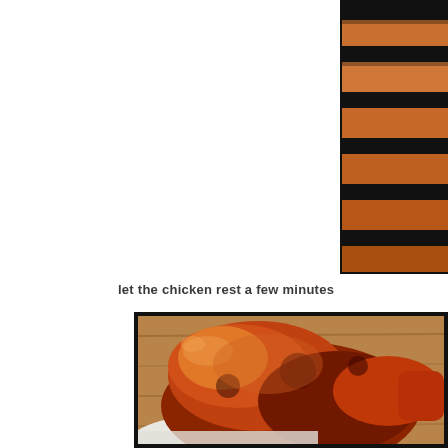[Figure (photo): Close-up photo of glazed BBQ chicken pieces on a dark grill grate, showing caramelized, charred skin with orange-brown color]
let the chicken rest a few minutes
[Figure (photo): Close-up photo of a whole roasted/BBQ chicken with deep mahogany-brown glazed skin resting on a white plate or surface, set against a wooden background. The skin is caramelized and glistening with sauce.]